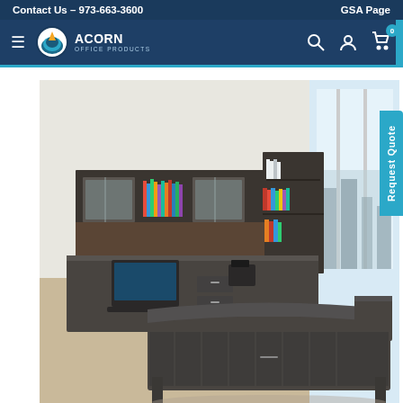Contact Us – 973-663-3600 | GSA Page
[Figure (logo): Acorn Office Products logo with hamburger menu, search, account, and cart icons]
[Figure (photo): Executive U-shaped office desk set in dark charcoal wood finish with hutch featuring glass-door cabinets and open bookshelves, a bow-front desk, and a laptop on the credenza, set in a modern office environment with large windows.]